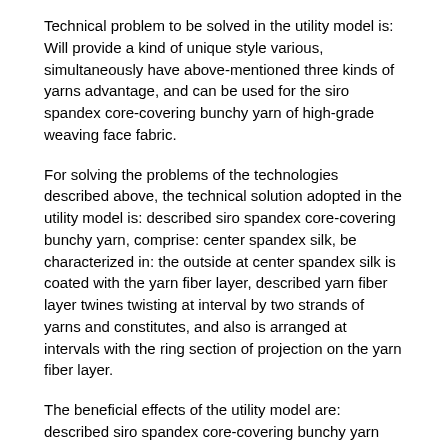Technical problem to be solved in the utility model is: Will provide a kind of unique style various, simultaneously have above-mentioned three kinds of yarns advantage, and can be used for the siro spandex core-covering bunchy yarn of high-grade weaving face fabric.
For solving the problems of the technologies described above, the technical solution adopted in the utility model is: described siro spandex core-covering bunchy yarn, comprise: center spandex silk, be characterized in: the outside at center spandex silk is coated with the yarn fiber layer, described yarn fiber layer twines twisting at interval by two strands of yarns and constitutes, and also is arranged at intervals with the ring section of projection on the yarn fiber layer.
The beneficial effects of the utility model are: described siro spandex core-covering bunchy yarn has the advantage of Siro-spun yarn, spandex core-spun yarn and slub yarn simultaneously, that is: two rove yarns of (1) Siro-spun yarn can be different fibers, also can be the identical fiber or the fiber of two identical blending rates, the fabric that is made into this yarn is through singly dying a kind of fiber or two kinds of fibers dye with different colors is two, fabric can